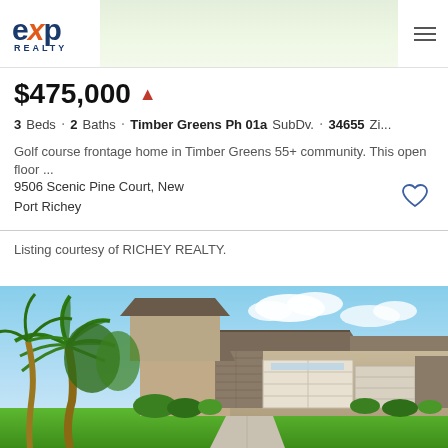[Figure (logo): eXp Realty logo with blue and orange text]
$475,000 ▲
3 Beds · 2 Baths · Timber Greens Ph 01a SubDv. · 34655 Zi...
Golf course frontage home in Timber Greens 55+ community. This open floor ...
9506 Scenic Pine Court, New Port Richey
Listing courtesy of RICHEY REALTY.
[Figure (photo): Exterior photo of a single-story home with tan/beige siding, stone accents, double garage doors, palm trees, and green lawn under blue sky with clouds.]